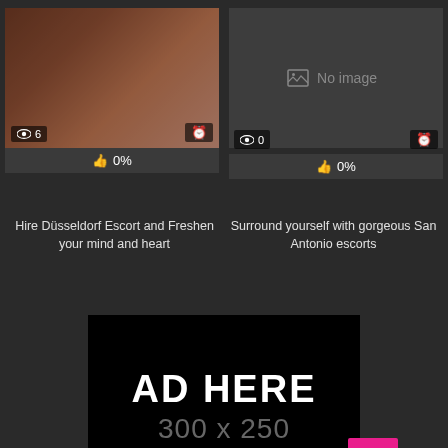[Figure (photo): Photo of a woman in red bikini posing on a couch, with view count 6 and a clock icon overlay, 0% like bar]
[Figure (photo): No image placeholder card with view count 0 and a clock icon overlay, 0% like bar]
Hire Düsseldorf Escort and Freshen your mind and heart
Surround yourself with gorgeous San Antonio escorts
[Figure (infographic): Black advertisement placeholder box with text AD HERE and size dimensions 300x250]